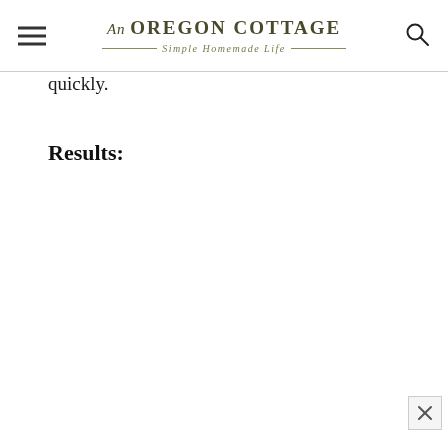An OREGON COTTAGE – Simple Homemade Life
quickly.
Results: